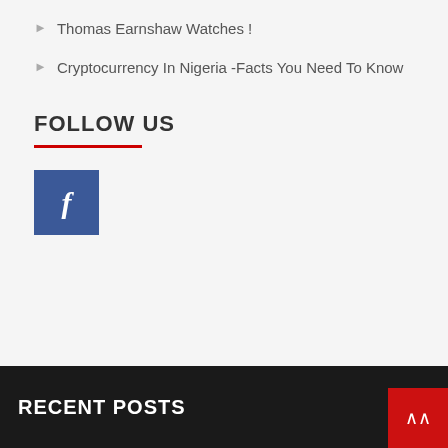Thomas Earnshaw Watches !
Cryptocurrency In Nigeria -Facts You Need To Know
FOLLOW US
[Figure (logo): Facebook icon button — blue square with white letter f]
RECENT POSTS